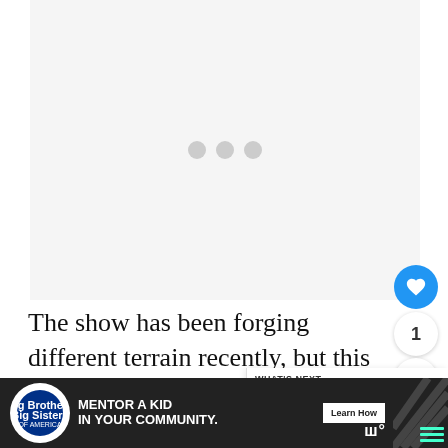[Figure (photo): Loading placeholder — light gray rectangle with three gray loading dots centered]
The show has been forging different terrain recently, but this Hilary Swank debut took a step back into familiar territory, with mixed su…
[Figure (infographic): What's Next overlay panel with circular avatar and text: The Office: Baby News -....]
[Figure (infographic): Advertisement banner: Big Brothers Big Sisters of America — MENTOR A KID IN YOUR COMMUNITY. Learn How]